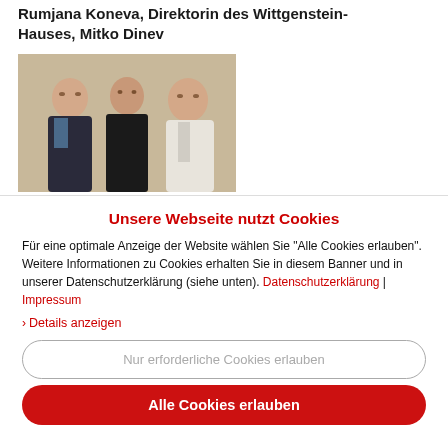Rumjana Koneva, Direktorin des Wittgenstein-Hauses, Mitko Dinev
[Figure (photo): Three people standing together in front of a light-colored wall: an older man in dark jacket on the left, a woman in black in the center, and an older man in white shirt on the right.]
Unsere Webseite nutzt Cookies
Für eine optimale Anzeige der Website wählen Sie "Alle Cookies erlauben". Weitere Informationen zu Cookies erhalten Sie in diesem Banner und in unserer Datenschutzerklärung (siehe unten). Datenschutzerklärung | Impressum
> Details anzeigen
Nur erforderliche Cookies erlauben
Alle Cookies erlauben